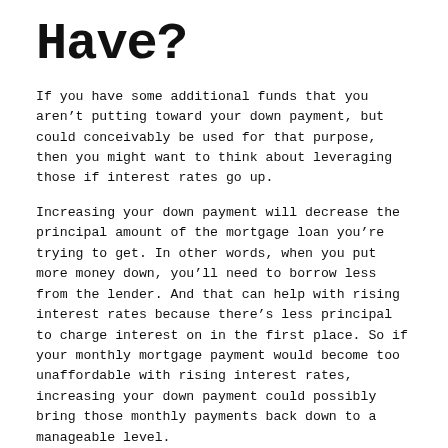Have?
If you have some additional funds that you aren't putting toward your down payment, but could conceivably be used for that purpose, then you might want to think about leveraging those if interest rates go up.
Increasing your down payment will decrease the principal amount of the mortgage loan you're trying to get. In other words, when you put more money down, you'll need to borrow less from the lender. And that can help with rising interest rates because there's less principal to charge interest on in the first place. So if your monthly mortgage payment would become too unaffordable with rising interest rates, increasing your down payment could possibly bring those monthly payments back down to a manageable level.
Rising interest rates can be a challenge for buyers to navigate, and working with a real estate agent who understands how your negotiating power has changed